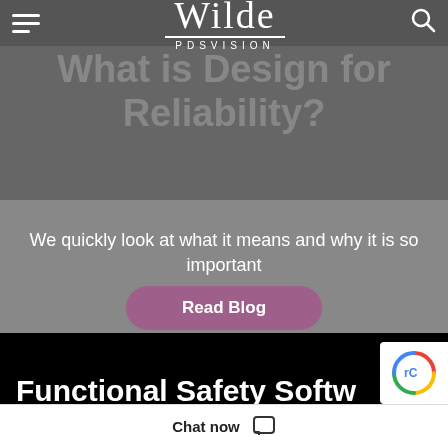Wilde PDSVISION
What is Design for Reliability?
We quickly look at what it means and why it is so important
Read Blog
Functional Safety Softw...
Chat now